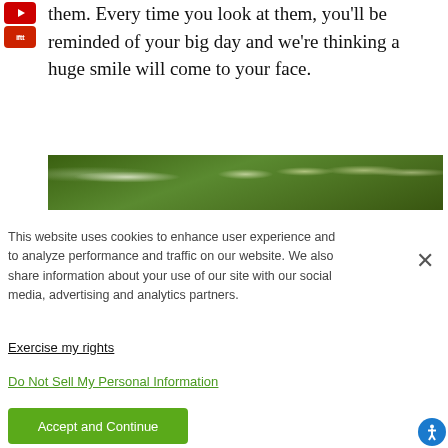[Figure (other): YouTube icon (red rounded rectangle)]
[Figure (other): Red app icon with text]
them. Every time you look at them, you'll be reminded of your big day and we're thinking a huge smile will come to your face.
[Figure (photo): A photo strip showing bokeh lights among green foliage, likely an outdoor wedding or garden setting.]
This website uses cookies to enhance user experience and to analyze performance and traffic on our website. We also share information about your use of our site with our social media, advertising and analytics partners.
Exercise my rights
Do Not Sell My Personal Information
Accept and Continue